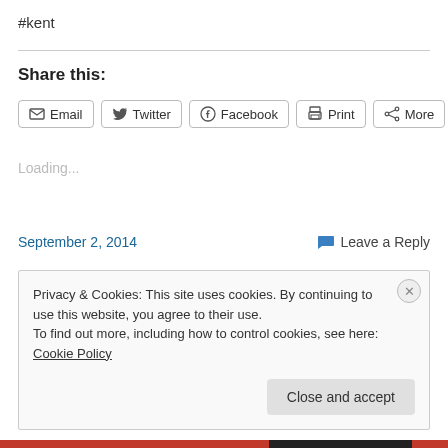#kent
Share this:
Email  Twitter  Facebook  Print  More
Loading...
September 2, 2014
Leave a Reply
Privacy & Cookies: This site uses cookies. By continuing to use this website, you agree to their use.
To find out more, including how to control cookies, see here: Cookie Policy